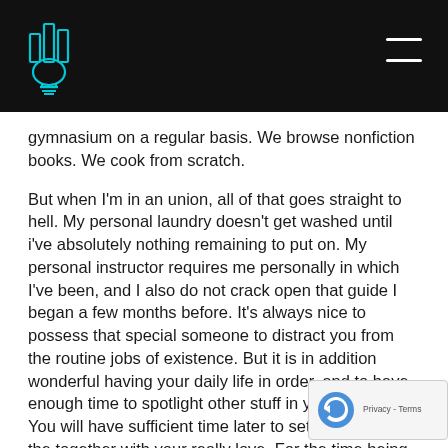gymnasium on a regular basis. We browse nonfiction books. We cook from scratch.
But when I'm in an union, all of that goes straight to hell. My personal laundry doesn't get washed until i've absolutely nothing remaining to put on. My personal instructor requires me personally in which I've been, and I also do not crack open that guide I began a few months before. It's always nice to possess that special someone to distract you from the routine jobs of existence. But it is in addition wonderful having your daily life in order, and to have enough time to spotlight other stuff in your lifetime. You will have sufficient time later to settle later part of the together with your really love. For the time being, kick ass within career, get a lean body by working-out and eating right and you will be a straight bigger capture whenever you are looking to connect with someone.